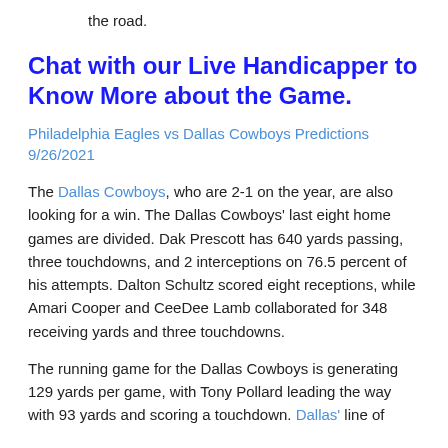the road.
Chat with our Live Handicapper to Know More about the Game.
Philadelphia Eagles vs Dallas Cowboys Predictions 9/26/2021
The Dallas Cowboys, who are 2-1 on the year, are also looking for a win. The Dallas Cowboys' last eight home games are divided. Dak Prescott has 640 yards passing, three touchdowns, and 2 interceptions on 76.5 percent of his attempts. Dalton Schultz scored eight receptions, while Amari Cooper and CeeDee Lamb collaborated for 348 receiving yards and three touchdowns.
The running game for the Dallas Cowboys is generating 129 yards per game, with Tony Pollard leading the way with 93 yards and scoring a touchdown. Dallas' line of